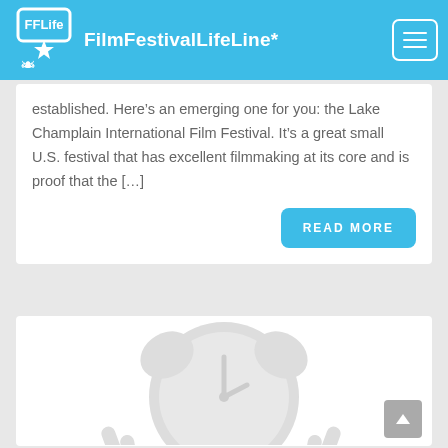FilmFestivalLifeLine*
established. Here’s an emerging one for you: the Lake Champlain International Film Festival. It’s a great small U.S. festival that has excellent filmmaking at its core and is proof that the […]
[Figure (illustration): Alarm clock illustration in light gray, partially visible, used as a decorative background image for the second article card]